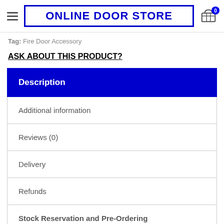ONLINE DOOR STORE
Tag: Fire Door Accessory
ASK ABOUT THIS PRODUCT?
Description
Additional information
Reviews (0)
Delivery
Refunds
Stock Reservation and Pre-Ordering